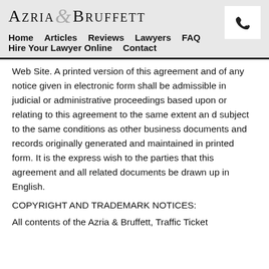AZRIA & BRUFFETT
Home  Articles  Reviews  Lawyers  FAQ  Hire Your Lawyer Online  Contact
Web Site. A printed version of this agreement and of any notice given in electronic form shall be admissible in judicial or administrative proceedings based upon or relating to this agreement to the same extent an d subject to the same conditions as other business documents and records originally generated and maintained in printed form. It is the express wish to the parties that this agreement and all related documents be drawn up in English.
COPYRIGHT AND TRADEMARK NOTICES:
All contents of the Azria & Bruffett, Traffic Ticket